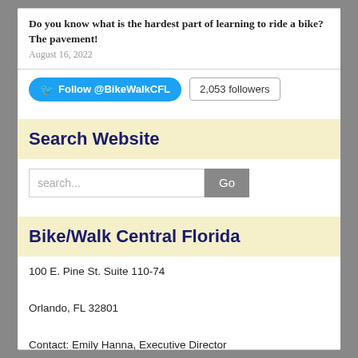Do you know what is the hardest part of learning to ride a bike? The pavement!
August 16, 2022
Follow @BikeWalkCFL  2,053 followers
Search Website
search...  Go
Bike/Walk Central Florida
100 E. Pine St. Suite 110-74
Orlando, FL 32801
Contact: Emily Hanna, Executive Director